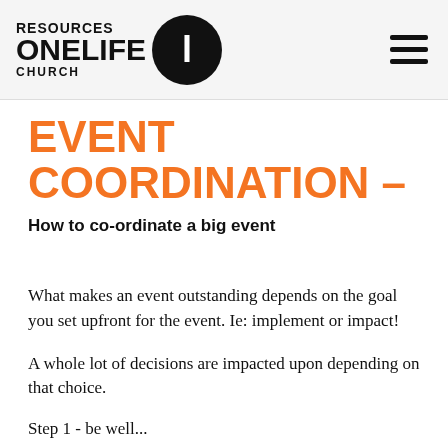RESOURCES ONELIFE CHURCH
EVENT COORDINATION –
How to co-ordinate a big event
What makes an event outstanding depends on the goal you set upfront for the event. Ie: implement or impact!
A whole lot of decisions are impacted upon depending on that choice.
Step 1 - be well...